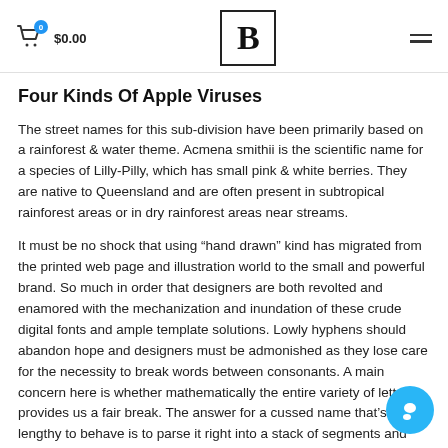$0.00 [cart icon with badge 0] [logo B] [hamburger menu]
Four Kinds Of Apple Viruses
The street names for this sub-division have been primarily based on a rainforest & water theme. Acmena smithii is the scientific name for a species of Lilly-Pilly, which has small pink & white berries. They are native to Queensland and are often present in subtropical rainforest areas or in dry rainforest areas near streams.
It must be no shock that using “hand drawn” kind has migrated from the printed web page and illustration world to the small and powerful brand. So much in order that designers are both revolted and enamored with the mechanization and inundation of these crude digital fonts and ample template solutions. Lowly hyphens should abandon hope and designers must be admonished as they lose care for the necessity to break words between consonants. A main concern here is whether mathematically the entire variety of letters provides us a fair break. The answer for a cussed name that’s too lengthy to behave is to parse it right into a stack of segments and field them up. Presto, you’ve a compact answer that suddenly stands out on a T-shirt’s logo ghetto. Perhaps the